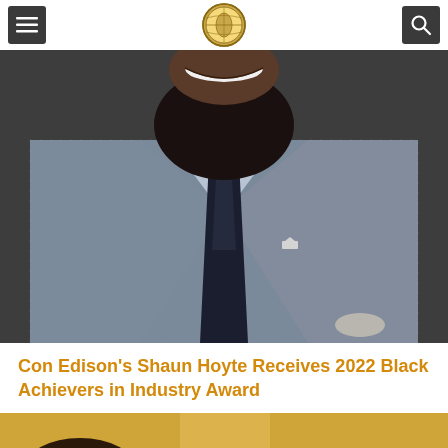[Navigation header with menu button, logo, and search button]
[Figure (photo): Professional portrait photograph of Shaun Hoyte, a Black man with a full beard, smiling broadly, wearing a gray plaid blazer, light blue dress shirt, dark navy tie, and a small crown lapel pin. The background is dark gray.]
Con Edison's Shaun Hoyte Receives 2022 Black Achievers in Industry Award
[Figure (photo): Bottom portion of a second photo, showing what appears to be a warm golden/amber toned image, partially cropped at the bottom of the page.]